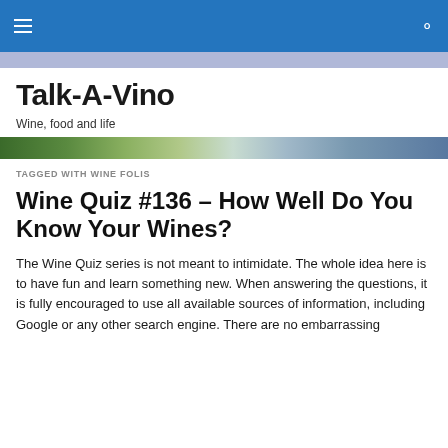Talk-A-Vino navigation header with hamburger menu and search icon
Talk-A-Vino
Wine, food and life
[Figure (photo): Landscape banner strip showing hills and sky]
TAGGED WITH WINE FOLIS
Wine Quiz #136 – How Well Do You Know Your Wines?
The Wine Quiz series is not meant to intimidate. The whole idea here is to have fun and learn something new. When answering the questions, it is fully encouraged to use all available sources of information, including Google or any other search engine. There are no embarrassing